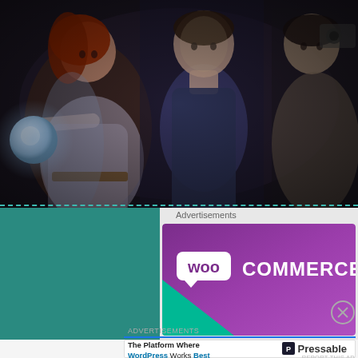[Figure (photo): Dark fantasy scene with three people: a woman with red hair in a medieval dress holding a glowing orb on the left, a man in a dark shirt in the center, and another person on the right, in a dark cave-like setting.]
Advertisements
[Figure (logo): WooCommerce logo banner — purple gradient background with white 'Woo' in a speech bubble and 'COMMERCE' in white capital letters, with a green triangle in the bottom-left corner.]
Advertisements
The Platform Where WordPress Works Best
Pressable